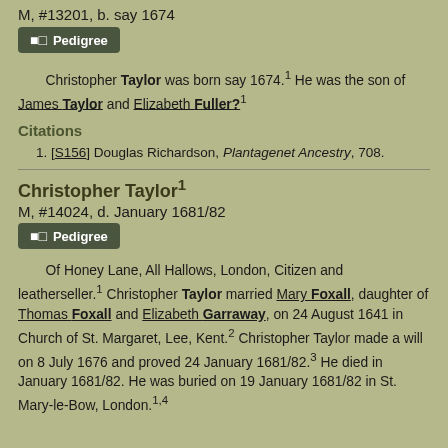M, #13201, b. say 1674
Pedigree
Christopher Taylor was born say 1674.¹ He was the son of James Taylor and Elizabeth Fuller?¹
Citations
1. [S156] Douglas Richardson, Plantagenet Ancestry, 708.
Christopher Taylor¹
M, #14024, d. January 1681/82
Pedigree
Of Honey Lane, All Hallows, London, Citizen and leatherseller.¹ Christopher Taylor married Mary Foxall, daughter of Thomas Foxall and Elizabeth Garraway, on 24 August 1641 in Church of St. Margaret, Lee, Kent.² Christopher Taylor made a will on 8 July 1676 and proved 24 January 1681/82.³ He died in January 1681/82. He was buried on 19 January 1681/82 in St. Mary-le-Bow, London.¹˒⁴